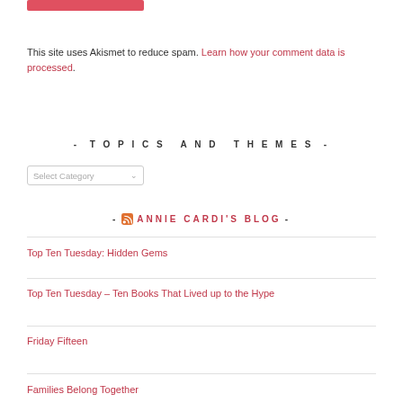This site uses Akismet to reduce spam. Learn how your comment data is processed.
- TOPICS AND THEMES -
Select Category
- ANNIE CARDI'S BLOG -
Top Ten Tuesday: Hidden Gems
Top Ten Tuesday – Ten Books That Lived up to the Hype
Friday Fifteen
Families Belong Together